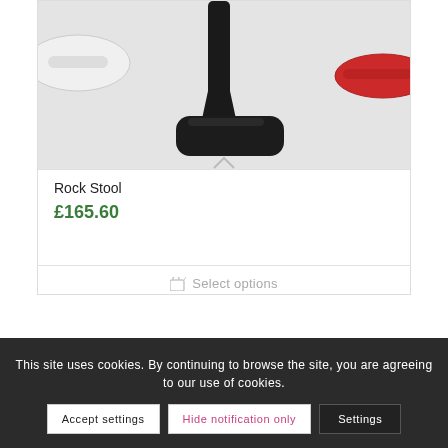[Figure (photo): Product photo of Rock Stool — black stool base with pedestal stem on light grey background; partial view of white and red versions visible at edges]
Rock Stool
£165.60
Select options
This site uses cookies. By continuing to browse the site, you are agreeing to our use of cookies.
Accept settings
Hide notification only
Settings